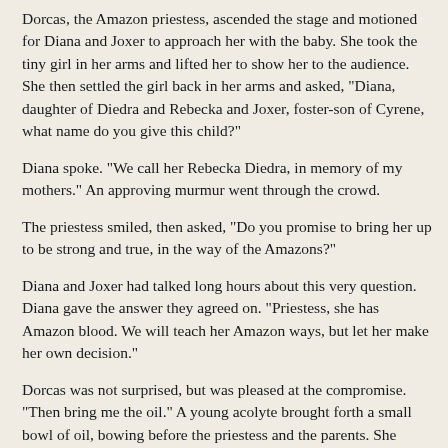Dorcas, the Amazon priestess, ascended the stage and motioned for Diana and Joxer to approach her with the baby. She took the tiny girl in her arms and lifted her to show her to the audience. She then settled the girl back in her arms and asked, "Diana, daughter of Diedra and Rebecka and Joxer, foster-son of Cyrene, what name do you give this child?"
Diana spoke. "We call her Rebecka Diedra, in memory of my mothers." An approving murmur went through the crowd.
The priestess smiled, then asked, "Do you promise to bring her up to be strong and true, in the way of the Amazons?"
Diana and Joxer had talked long hours about this very question. Diana gave the answer they agreed on. "Priestess, she has Amazon blood. We will teach her Amazon ways, but let her make her own decision."
Dorcas was not surprised, but was pleased at the compromise. "Then bring me the oil." A young acolyte brought forth a small bowl of oil, bowing before the priestess and the parents. She straightened and held out the bowl to the priestess. The priestess dipped her finger in the oil and drew a sign on the baby's forehead, then announced, "May the gods and goddesses protect Rebecka Diedra, all of her days of her life. May they call her blessed, and